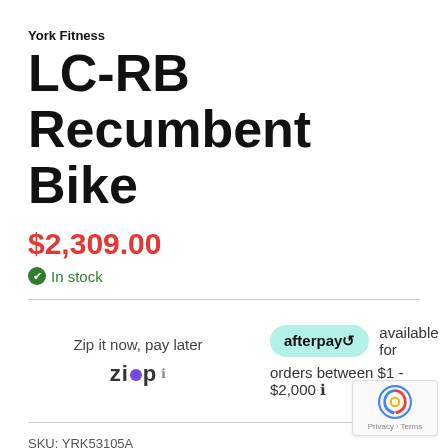York Fitness
LC-RB Recumbent Bike
$2,309.00
In stock
Zip it now, pay later
afterpay available for orders between $1 - $2,000
SKU: YRK53105A
Categories: Bikes, Commercial
Tags: Bikes, Exercise Bike, Fitness Bike, Indoor Bike, Recumbent Bike, Bike